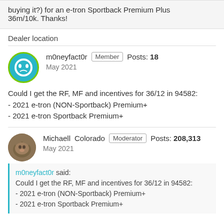buying it?) for an e-tron Sportback Premium Plus 36m/10k. Thanks!
Dealer location
m0neyfact0r   Member   Posts: 18   May 2021
Could I get the RF, MF and incentives for 36/12 in 94582:
- 2021 e-tron (NON-Sportback) Premium+
- 2021 e-tron Sportback Premium+
Michaell   Colorado   Moderator   Posts: 208,313   May 2021
m0neyfact0r said:
Could I get the RF, MF and incentives for 36/12 in 94582:
- 2021 e-tron (NON-Sportback) Premium+
- 2021 e-tron Sportback Premium+